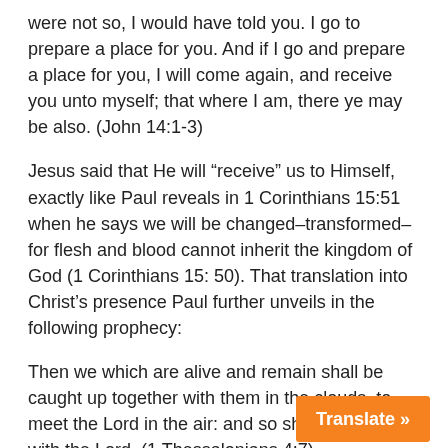were not so, I would have told you. I go to prepare a place for you. And if I go and prepare a place for you, I will come again, and receive you unto myself; that where I am, there ye may be also. (John 14:1-3)
Jesus said that He will “receive” us to Himself, exactly like Paul reveals in 1 Corinthians 15:51 when he says we will be changed–transformed–for flesh and blood cannot inherit the kingdom of God (1 Corinthians 15: 50). That translation into Christ’s presence Paul further unveils in the following prophecy:
Then we which are alive and remain shall be caught up together with them in the clouds, to meet the Lord in the air: and so shall we ever be with the Lord. (1 Thessalonians 4:7)
The next words of our Lord about this “mystery” Paul is “showing” us is found in the Gospel of Matthew–in what is known as the Olivet Discourse:
But of that day and hour knoweth no man,